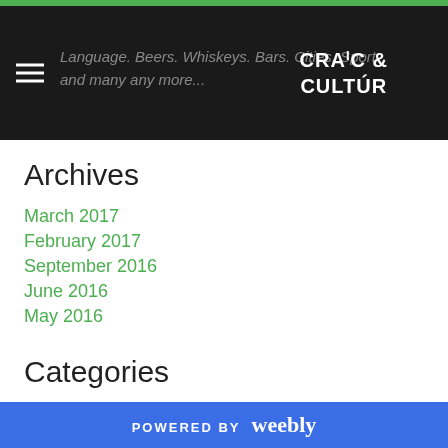Language. Beers. Whiskeys. Bars. Cities. Sport and many any more... CRAIC & CULTÚR
Archives
March 2017
February 2017
September 2016
June 2016
May 2016
Categories
All
General
The Craic & Cultúr Guide
POWERED BY weebly